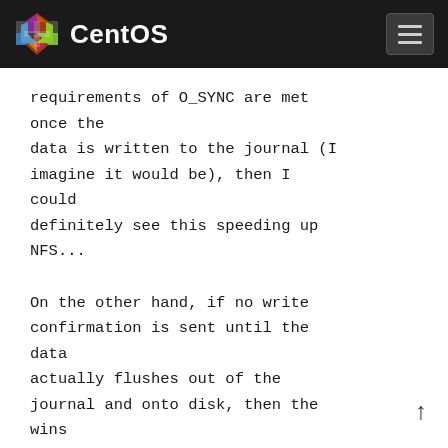CentOS
requirements of O_SYNC are met once the data is written to the journal (I imagine it would be), then I could definitely see this speeding up NFS...

On the other hand, if no write confirmation is sent until the data actually flushes out of the journal and onto disk, then the wins